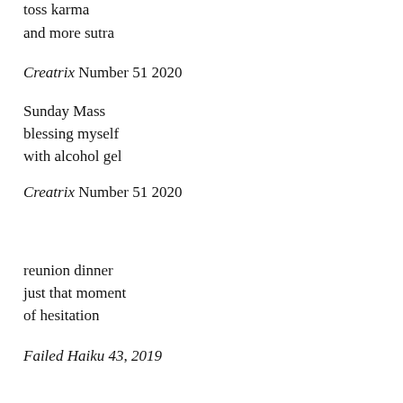toss karma
and more sutra
Creatrix Number 51 2020
Sunday Mass
blessing myself
with alcohol gel
Creatrix Number 51 2020
reunion dinner
just that moment
of hesitation
Failed Haiku 43, 2019